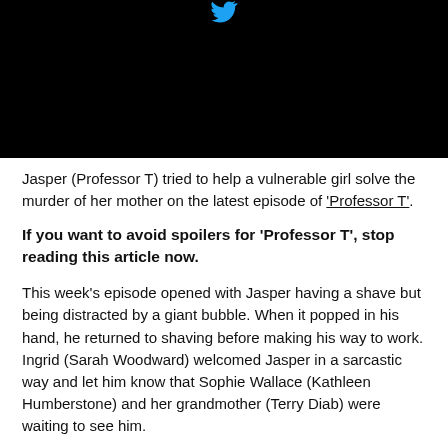[Figure (photo): Black image panel with a small teal/blue Twitter bird icon visible at the top center]
Jasper (Professor T) tried to help a vulnerable girl solve the murder of her mother on the latest episode of 'Professor T'.
If you want to avoid spoilers for 'Professor T', stop reading this article now.
This week's episode opened with Jasper having a shave but being distracted by a giant bubble. When it popped in his hand, he returned to shaving before making his way to work. Ingrid (Sarah Woodward) welcomed Jasper in a sarcastic way and let him know that Sophie Wallace (Kathleen Humberstone) and her grandmother (Terry Diab) were waiting to see him.